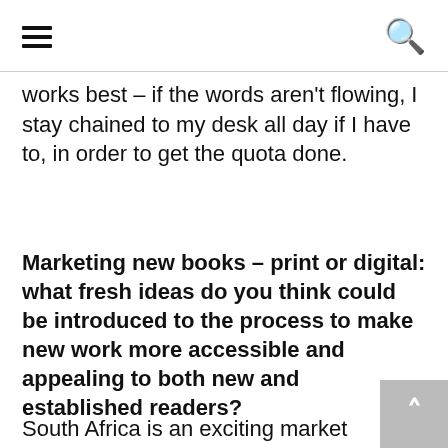≡  🔍
works best – if the words aren't flowing, I stay chained to my desk all day if I have to, in order to get the quota done.
Marketing new books – print or digital: what fresh ideas do you think could be introduced to the process to make new work more accessible and appealing to both new and established readers?
South Africa is an exciting market for me,